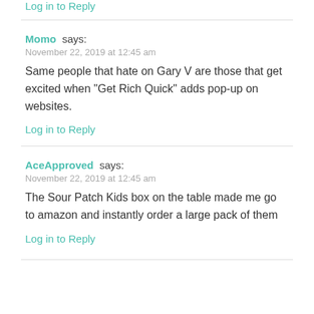Log in to Reply
Momo says:
November 22, 2019 at 12:45 am
Same people that hate on Gary V are those that get excited when "Get Rich Quick" adds pop-up on websites.
Log in to Reply
AceApproved says:
November 22, 2019 at 12:45 am
The Sour Patch Kids box on the table made me go to amazon and instantly order a large pack of them
Log in to Reply